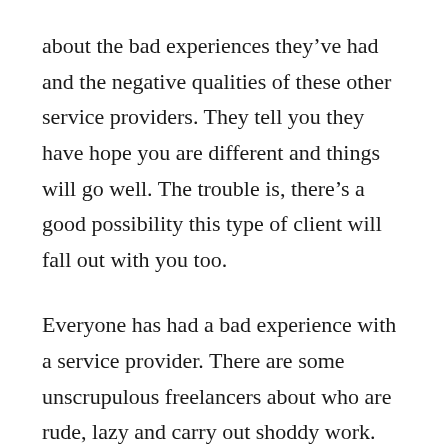about the bad experiences they've had and the negative qualities of these other service providers. They tell you they have hope you are different and things will go well. The trouble is, there's a good possibility this type of client will fall out with you too.
Everyone has had a bad experience with a service provider. There are some unscrupulous freelancers about who are rude, lazy and carry out shoddy work. But they are a minority on the whole and if a business owner and collaboration partner has had nothing but bad experiences, then it suggests the problem might rest with them. Their unrealistic expectations, inflated ego, or poor social skills mean